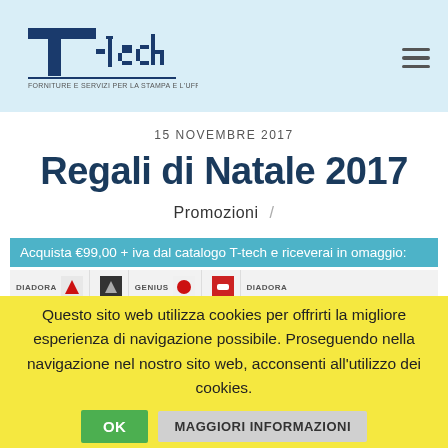[Figure (logo): T-tech logo with tagline 'FORNITURE E SERVIZI PER LA STAMPA E L'UFFICIO' on light blue header background]
15 NOVEMBRE 2017
Regali di Natale 2017
Promozioni /
Acquista €99,00 + iva dal catalogo T-tech e riceverai in omaggio:
[Figure (photo): Product strip showing Diadora branded items and other products]
Questo sito web utilizza cookies per offrirti la migliore esperienza di navigazione possibile. Proseguendo nella navigazione nel nostro sito web, acconsenti all'utilizzo dei cookies.
OK
MAGGIORI INFORMAZIONI